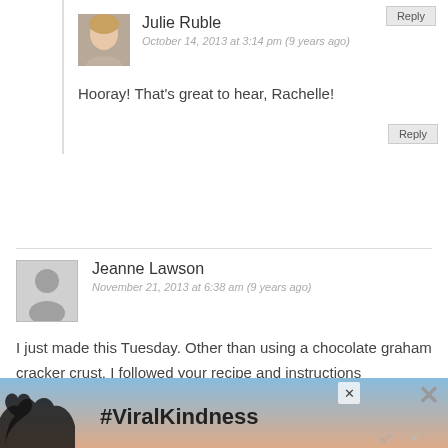Reply
[Figure (photo): Avatar photo of Julie Ruble, a woman with light hair]
Julie Ruble
October 14, 2013 at 3:14 pm (9 years ago)
Hooray! That's great to hear, Rachelle!
Reply
[Figure (illustration): Generic user avatar silhouette for Jeanne Lawson]
Jeanne Lawson
November 21, 2013 at 6:38 am (9 years ago)
I just made this Tuesday. Other than using a chocolate graham cracker crust, I followed your recipe and instructions completely. It all came together much more quickly and easily than I expected. It is delicious–just what I hoped for!
[Figure (infographic): Advertisement banner with hands forming a heart shape and text #ViralKindness]